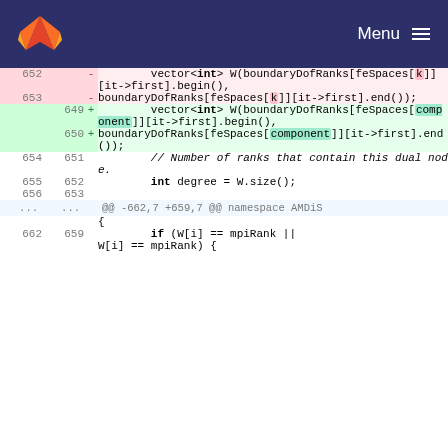GitLab Menu
[Figure (screenshot): Code diff view showing changes to C++ source code. Removed lines (652-653) show vector<int> W(boundaryDofRanks[feSpaces[k]][it->first].begin(), boundaryDofRanks[feSpaces[k]][it->first].end()); Added lines (649-650) show vector<int> W(boundaryDofRanks[feSpaces[component]][it->first].begin(), boundaryDofRanks[feSpaces[component]][it->first].end()); Context lines show comment // Number of ranks that contain this dual node., int degree = W.size();, and hunk header @@ -662,7 +659,7 @@ namespace AMDiS with if (W[i] == mpiRank || W[i] == mpiRank) {]